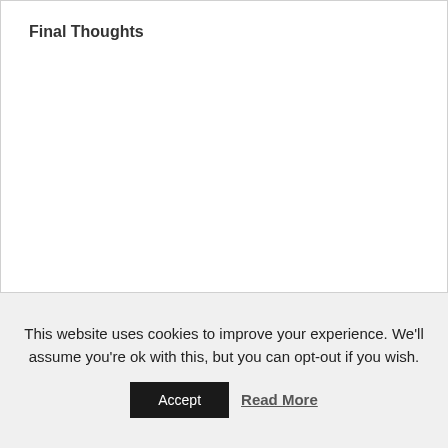Final Thoughts
This website uses cookies to improve your experience. We'll assume you're ok with this, but you can opt-out if you wish.
Accept
Read More